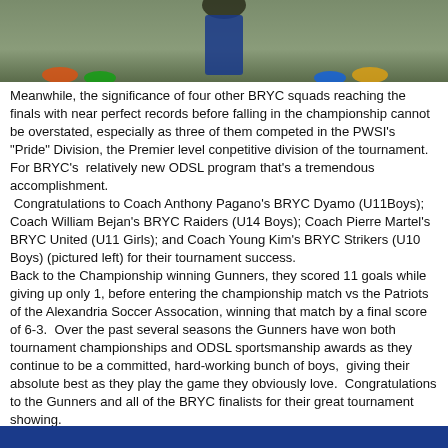[Figure (photo): Top portion of a photo showing youth soccer players on a grass field, with colorful cleats and blue uniforms visible.]
Meanwhile, the significance of four other BRYC squads reaching the finals with near perfect records before falling in the championship cannot be overstated, especially as three of them competed in the PWSI's "Pride" Division, the Premier level conpetitive division of the tournament.  For BRYC's  relatively new ODSL program that's a tremendous accomplishment.
 Congratulations to Coach Anthony Pagano's BRYC Dyamo (U11Boys); Coach William Bejan's BRYC Raiders (U14 Boys); Coach Pierre Martel's BRYC United (U11 Girls); and Coach Young Kim's BRYC Strikers (U10 Boys) (pictured left) for their tournament success.
Back to the Championship winning Gunners, they scored 11 goals while giving up only 1, before entering the championship match vs the Patriots of the Alexandria Soccer Assocation, winning that match by a final score of 6-3.  Over the past several seasons the Gunners have won both tournament championships and ODSL sportsmanship awards as they continue to be a committed, hard-working bunch of boys,  giving their absolute best as they play the game they obviously love.  Congratulations to the Gunners and all of the BRYC finalists for their great tournament showing.